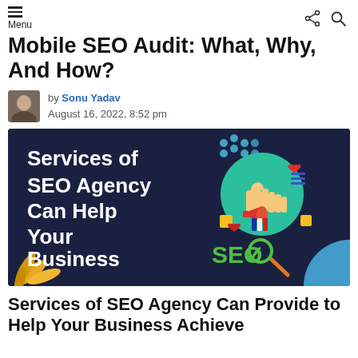Menu
Mobile SEO Audit: What, Why, And How?
by Sonu Yadav
August 16, 2022, 8:52 pm
[Figure (illustration): Dark navy blue banner image with bold white text reading 'Services of SEO Agency Can Help Your Business Achieve Success', with an SEO icon (magnifying glass with checkmark) and a thumbs-up social media icons graphic on the right, a plant leaf in the bottom left, and a blue circle in the bottom right.]
Services of SEO Agency Can Provide to Help Your Business Achieve